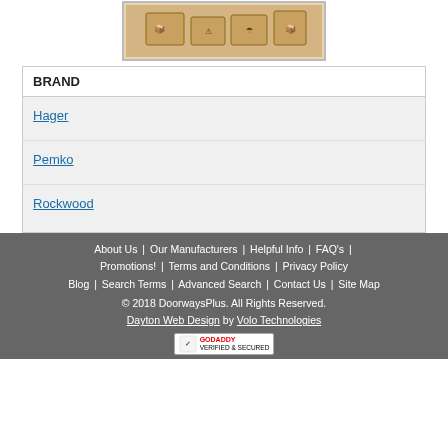[Figure (photo): Product image showing stacked boxes with shipping symbols, displayed in a bordered frame]
| BRAND |
| --- |
| Hager |
| Pemko |
| Rockwood |
About Us | Our Manufacturers | Helpful Info | FAQ's | Promotions! | Terms and Conditions | Privacy Policy Blog | Search Terms | Advanced Search | Contact Us | Site Map © 2018 DoorwaysPlus. All Rights Reserved. Dayton Web Design by Volo Technologies